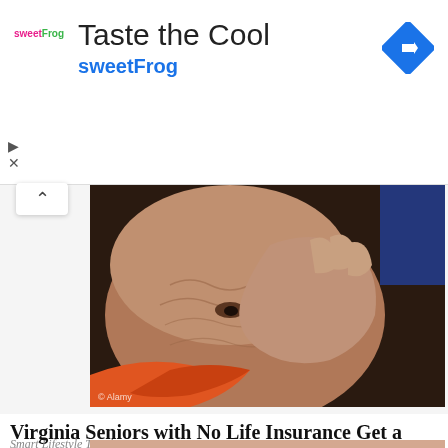[Figure (other): sweetFrog advertisement banner with logo, 'Taste the Cool' title, 'sweetFrog' subtitle in blue, and a blue diamond direction icon on the right. Play and close controls visible on the left.]
[Figure (photo): Close-up photograph of an elderly person with heavily wrinkled skin, hand raised to their forehead/eye area in a distressed or worried pose. Orange/red clothing visible. © Alamy watermark at bottom left.]
Virginia Seniors with No Life Insurance Get a $250k Policy for $18/month
Smart Lifestyle Trends
[Figure (photo): Partial view of a second article image at the bottom of the page, showing the top portion of a person's head with dark hair.]